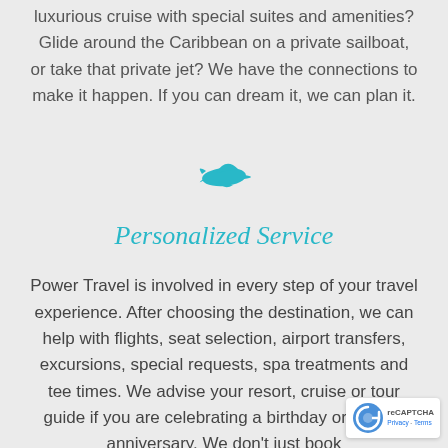luxurious cruise with special suites and amenities? Glide around the Caribbean on a private sailboat, or take that private jet? We have the connections to make it happen. If you can dream it, we can plan it.
[Figure (illustration): Teal/cyan airplane icon (silhouette) centered on the page]
Personalized Service
Power Travel is involved in every step of your travel experience. After choosing the destination, we can help with flights, seat selection, airport transfers, excursions, special requests, spa treatments and tee times. We advise your resort, cruise or tour guide if you are celebrating a birthday or special anniversary. We don't just book